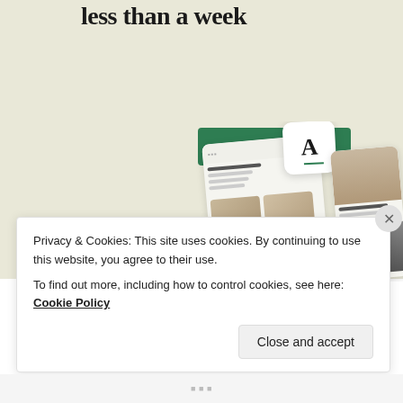less than a week
Explore options
[Figure (screenshot): App mockup screenshots showing a recipe/meal planning interface with food images, text content, and a letter A logo card]
Privacy & Cookies: This site uses cookies. By continuing to use this website, you agree to their use.
To find out more, including how to control cookies, see here: Cookie Policy
Close and accept